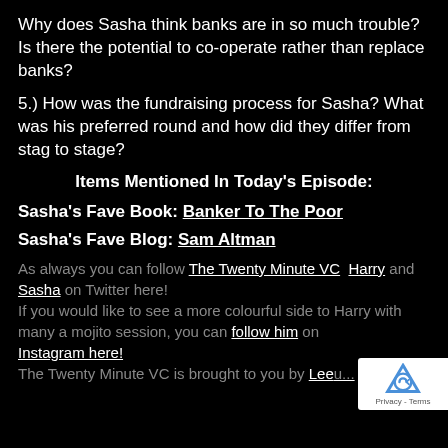Why does Sasha think banks are in so much trouble? Is there the potential to co-operate rather than replace banks?
5.) How was the fundraising process for Sasha? What was his preferred round and how did they differ from stag to stage?
Items Mentioned In Today's Episode:
Sasha's Fave Book: Banker To The Poor
Sasha's Fave Blog: Sam Altman
As always you can follow The Twenty Minute VC Harry and Sasha on Twitter here! If you would like to see a more colourful side to Harry with many a mojito session, you can follow him on Instagram here! The Twenty Minute VC is brought to you by Leeu...